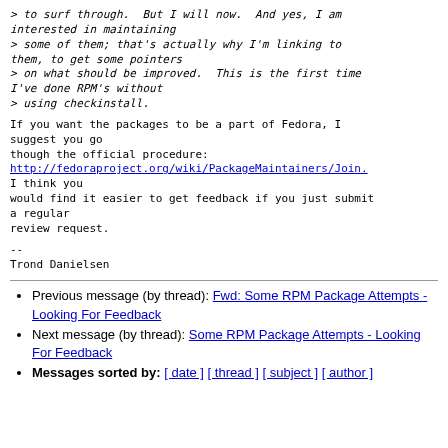> to surf through.  But I will now.  And yes, I am interested in maintaining
> some of them; that's actually why I'm linking to them, to get some pointers
> on what should be improved.  This is the first time I've done RPM's without
> using checkinstall.
If you want the packages to be a part of Fedora, I suggest you go
though the official procedure:
http://fedoraproject.org/wiki/PackageMaintainers/Join.
I think you
would find it easier to get feedback if you just submit a regular
review request.
--
Trond Danielsen
Previous message (by thread): Fwd: Some RPM Package Attempts - Looking For Feedback
Next message (by thread): Some RPM Package Attempts - Looking For Feedback
Messages sorted by: [ date ] [ thread ] [ subject ] [ author ]